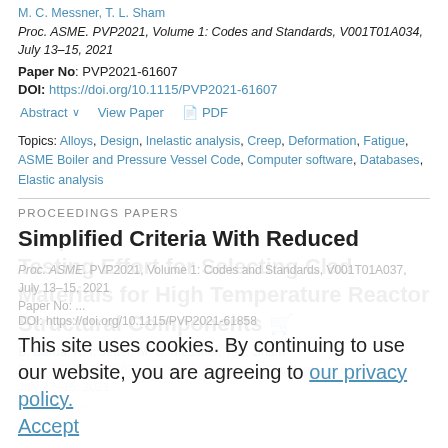M. C. Messner, T.-L. Sham
Proc. ASME. PVP2021, Volume 1: Codes and Standards, V001T01A034, July 13–15, 2021
Paper No: PVP2021-61607
DOI: https://doi.org/10.1115/PVP2021-61607
Abstract  View Paper  PDF
Topics: Alloys, Design, Inelastic analysis, Creep, Deformation, Fatigue, ASME Boiler and Pressure Vessel Code, Computer software, Databases, Elastic analysis
PROCEEDINGS PAPERS
Simplified Criteria With Reduced Testing Effort for Selecting Clad Materials for High Temperature Reactor Structural Components
B. Barua, R. I. Jetter, M. C. Messner, T.-L. Sham
Proc. ASME. PVP2021, Volume 1: Codes and Standards, V001T01A037, July 13–15, 2021
Paper No: ...
DOI: https://doi.org/10.1115/PVP2021-61858
This site uses cookies. By continuing to use our website, you are agreeing to our privacy policy. Accept